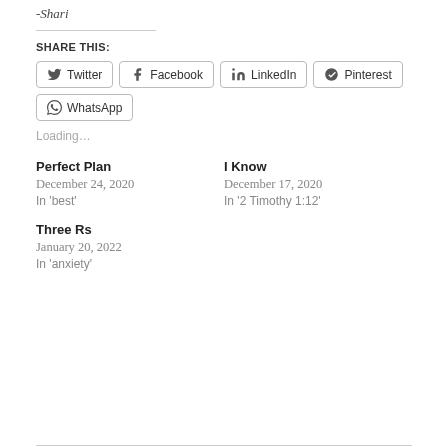-Shari
SHARE THIS:
Twitter  Facebook  LinkedIn  Pinterest  WhatsApp
Loading...
Perfect Plan
December 24, 2020
In 'best'
I Know
December 17, 2020
In '2 Timothy 1:12'
Three Rs
January 20, 2022
In 'anxiety'